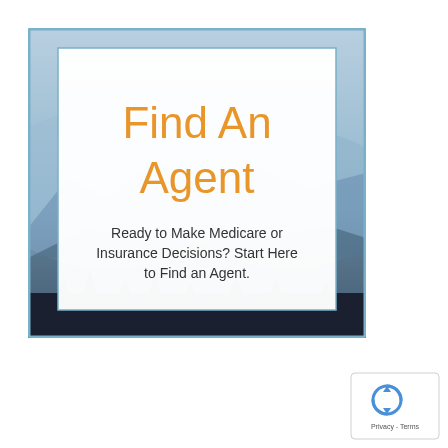[Figure (illustration): A square promotional image with a mountain/misty landscape background in blue-grey tones, containing a white inner box with a blue border. Inside the white box is a large orange heading 'Find An Agent' and below it dark grey text 'Ready to Make Medicare or Insurance Decisions? Start Here to Find an Agent.']
[Figure (logo): reCAPTCHA widget in bottom-right corner showing the reCAPTCHA icon with 'Privacy - Terms' text below it, in a small white rounded box with shadow.]